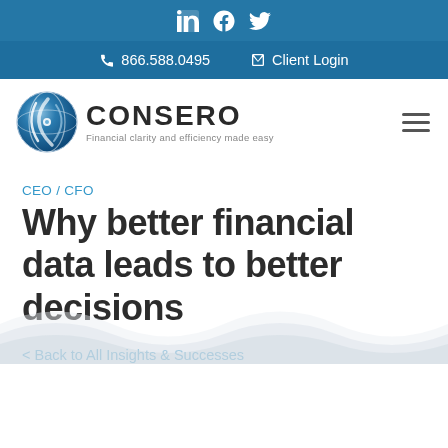Social icons: LinkedIn, Facebook, Twitter
866.588.0495  |  Client Login
[Figure (logo): Consero logo: blue globe icon with CONSERO text and tagline 'Financial clarity and efficiency made easy']
CEO / CFO
Why better financial data leads to better decisions
< Back to All Insights & Successes